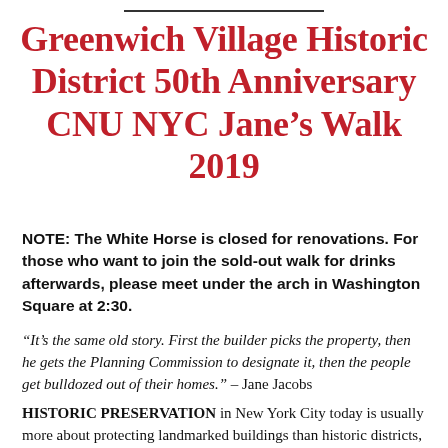Greenwich Village Historic District 50th Anniversary CNU NYC Jane's Walk 2019
NOTE: The White Horse is closed for renovations. For those who want to join the sold-out walk for drinks afterwards, please meet under the arch in Washington Square at 2:30.
“It’s the same old story. First the builder picks the property, then he gets the Planning Commission to designate it, then the people get bulldozed out of their homes.” – Jane Jacobs
HISTORIC PRESERVATION in New York City today is usually more about protecting landmarked buildings than historic districts, because in New York we live in the Real Estate State